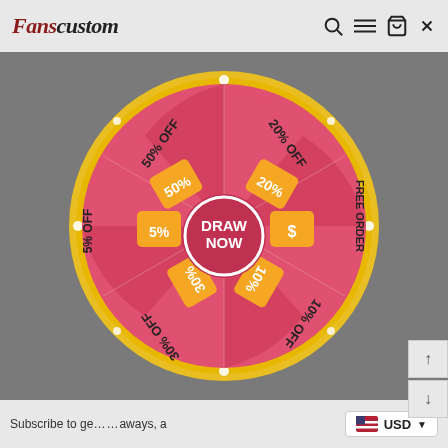Fanscustom
[Figure (infographic): A promotional spin-the-wheel / fortune wheel with 6 sections showing discount prizes: 50% OFF, 20% OFF, FREE ORDER, 10% OFF, 30% OFF, 5% OFF. Center button reads DRAW NOW. The wheel is red and pink with orange badge icons, surrounded by a yellow glowing border.]
Subscribe to get ... aways, ... USD